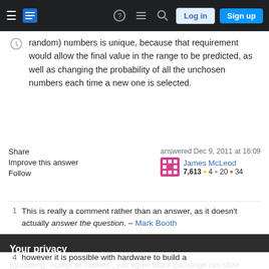Stack Exchange navigation bar with hamburger menu, logo, help, chat, search icons, Log in and Sign up buttons
random) numbers is unique, because that requirement would allow the final value in the range to be predicted, as well as changing the probability of all the unchosen numbers each time a new one is selected.
Share
Improve this answer
Follow
answered Dec 9, 2011 at 16:09
James McLeod
7,613 ●4 ●20 ●34
1   This is really a comment rather than an answer, as it doesn't actually answer the question. – Mark Booth
Your privacy
By clicking "Accept all cookies", you agree Stack Exchange can store cookies on your device and disclose information in accordance with our Cookie Policy.
Accept all cookies   Customize settings
4   however it is possible with hardware to build a